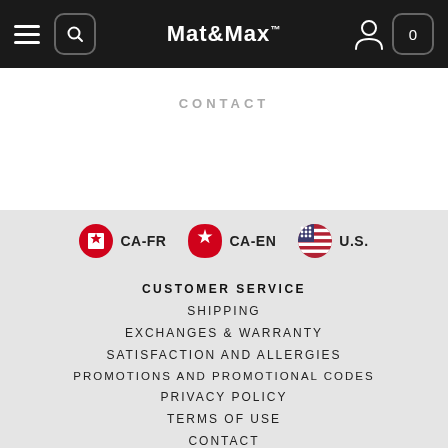Mat&Max — Navigation bar with hamburger menu, search, logo, account, and cart
CONTACT
[Figure (infographic): Three country/language selector buttons: CA-FR with red Canada flag circle, CA-EN with red Canada flag circle, U.S. with US flag circle]
CUSTOMER SERVICE
SHIPPING
EXCHANGES & WARRANTY
SATISFACTION AND ALLERGIES
PROMOTIONS AND PROMOTIONAL CODES
PRIVACY POLICY
TERMS OF USE
CONTACT